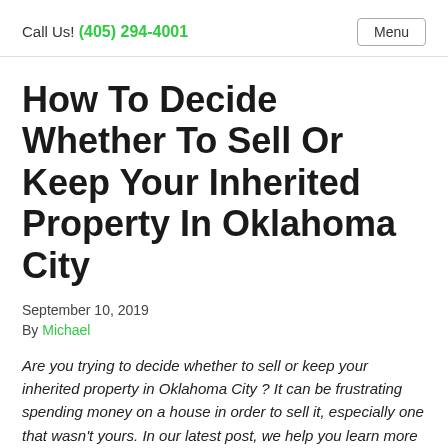Call Us! (405) 294-4001  Menu
How To Decide Whether To Sell Or Keep Your Inherited Property In Oklahoma City
September 10, 2019
By Michael
Are you trying to decide whether to sell or keep your inherited property in Oklahoma City ? It can be frustrating spending money on a house in order to sell it, especially one that wasn't yours. In our latest post, we help you learn more